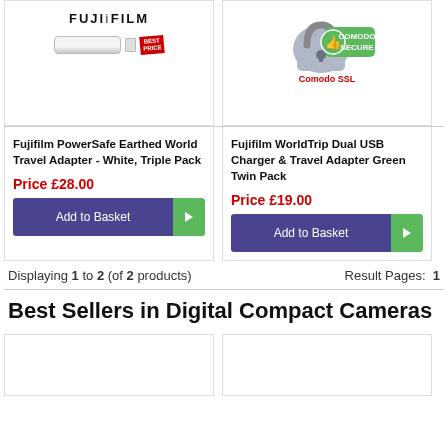[Figure (photo): Fujifilm product image with logo and 'Best Price' badge, showing a white travel adapter]
Fujifilm PowerSafe Earthed World Travel Adapter - White, Triple Pack
Price £28.00
Add to Basket
[Figure (logo): Comodo Secure SSL badge with thumbs up icon and green Comodo Secure banner]
Comodo SSL
Fujifilm WorldTrip Dual USB Charger & Travel Adapter Green Twin Pack
Price £19.00
Add to Basket
Displaying 1 to 2 (of 2 products)
Result Pages:  1
Best Sellers in Digital Compact Cameras